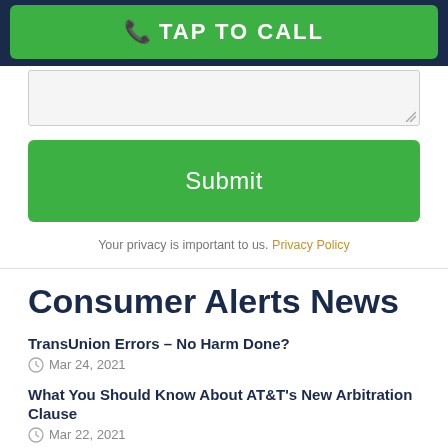[Figure (screenshot): Green TAP TO CALL button on dark navy background with phone icon]
[Figure (screenshot): Gray textarea form field with resize handle]
[Figure (screenshot): Green Submit button]
Your privacy is important to us. Privacy Policy
Consumer Alerts News
TransUnion Errors – No Harm Done?
Mar 24, 2021
What You Should Know About AT&T's New Arbitration Clause
Mar 22, 2021
Chinese Investors Are Being Ripped Off by Ponzi